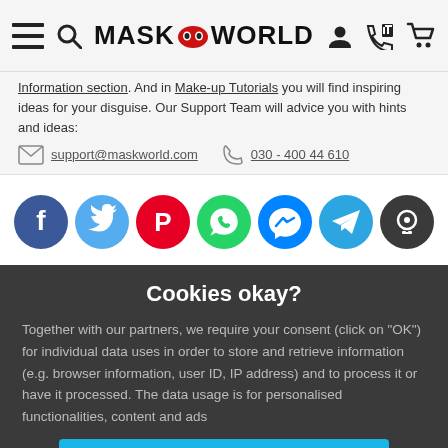MASK WORLD (with hamburger, search, user, cart icons)
Information section. And in Make-up Tutorials you will find inspiring ideas for your disguise. Our Support Team will advice you with hints and ideas: support@maskworld.com  030 - 400 44 610
[Figure (infographic): Row of 7 social media icons: Facebook, Twitter, Pinterest, WhatsApp, Messenger, Telegram, Signal]
REVIEWS
YORO (partially visible text behind cookie overlay)
Cookies okay?
Together with our partners, we require your consent (click on "OK") for individual data uses in order to store and retrieve information (e.g. browser information, user ID, IP address) and to process it or have it processed. The data usage is for personalised functionalities, content and ads
OK
More information